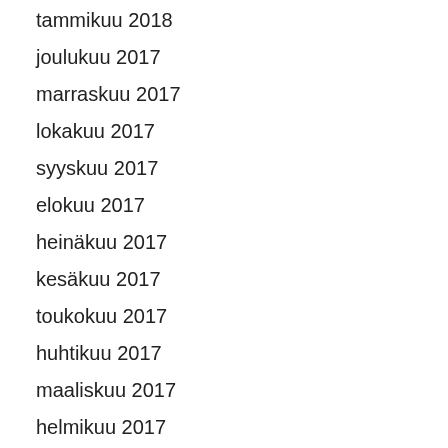tammikuu 2018
joulukuu 2017
marraskuu 2017
lokakuu 2017
syyskuu 2017
elokuu 2017
heinäkuu 2017
kesäkuu 2017
toukokuu 2017
huhtikuu 2017
maaliskuu 2017
helmikuu 2017
tammikuu 2017
joulukuu 2016